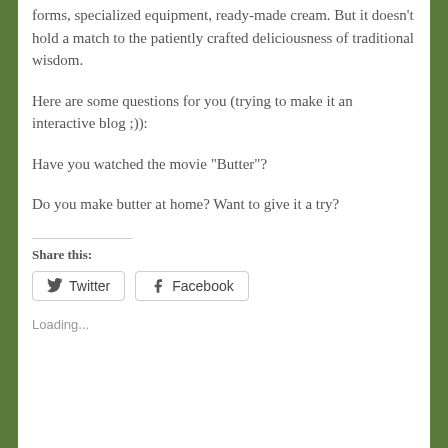forms, specialized equipment, ready-made cream. But it doesn’t hold a match to the patiently crafted deliciousness of traditional wisdom.
Here are some questions for you (trying to make it an interactive blog ;)):
Have you watched the movie “Butter”?
Do you make butter at home? Want to give it a try?
Share this:
Twitter
Facebook
Loading...